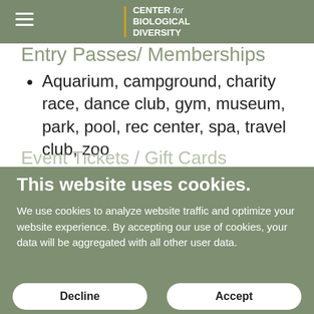Center for Biological Diversity
Entry Passes/ Memberships
Aquarium, campground, charity race, dance club, gym, museum, park, pool, rec center, spa, travel club, zoo
Event Tickets / Gift Cards
This website uses cookies.
We use cookies to analyze website traffic and optimize your website experience. By accepting our use of cookies, your data will be aggregated with all other user data.
Decline | Accept